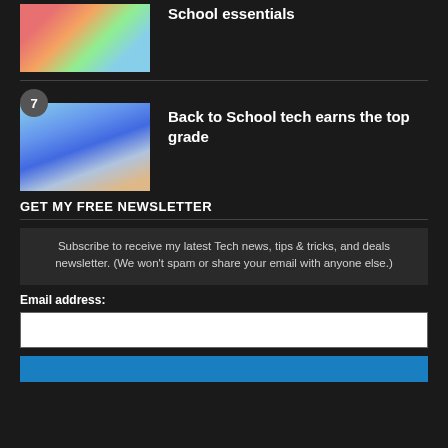[Figure (photo): People with a pink piggy bank — school essentials image]
School essentials
[Figure (photo): Students running in a school hallway — back to school tech article image]
Back to School tech earns the top grade
GET MY FREE NEWSLETTER
Subscribe to receive my latest Tech news, tips & tricks, and deals newsletter. (We won't spam or share your email with anyone else.)
Email address: